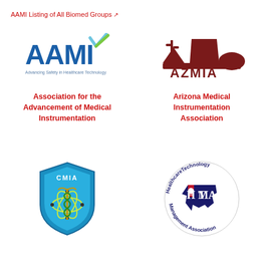AAMI Listing of All Biomed Groups ↗
[Figure (logo): AAMI logo - blue letters with green/blue checkmark accent, subtitle: Advancing Safety in Healthcare Technology]
[Figure (logo): AZMIA logo - dark red silhouette of desert butte/mesa with saguaro cactus, text AZMIA below]
Association for the Advancement of Medical Instrumentation
Arizona Medical Instrumentation Association
[Figure (logo): CMIA logo - blue shield with caduceus and atom symbol, letters CMIA at top]
[Figure (logo): HTMA Healthcare Technology Management Association logo - circular text around Texas state outline with H T M A letters]